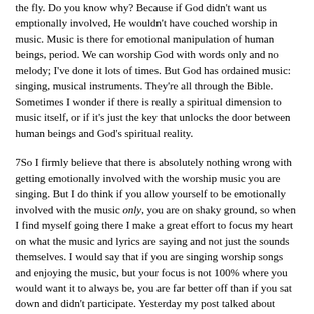the fly. Do you know why? Because if God didn't want us emptionally involved, He wouldn't have couched worship in music. Music is there for emotional manipulation of human beings, period. We can worship God with words only and no melody; I've done it lots of times. But God has ordained music: singing, musical instruments. They're all through the Bible. Sometimes I wonder if there is really a spiritual dimension to music itself, or if it's just the key that unlocks the door between human beings and God's spiritual reality.
7So I firmly believe that there is absolutely nothing wrong with getting emotionally involved with the worship music you are singing. But I do think if you allow yourself to be emotionally involved with the music only, you are on shaky ground, so when I find myself going there I make a great effort to focus my heart on what the music and lyrics are saying and not just the sounds themselves. I would say that if you are singing worship songs and enjoying the music, but your focus is not 100% where you would want it to always be, you are far better off than if you sat down and didn't participate. Yesterday my post talked about obedience; we worship partly out of obedience to God, and that is what the